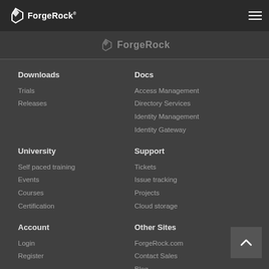ForgeRock
Downloads
Trials
Releases
Docs
Access Management
Directory Services
Identity Management
Identity Gateway
University
Self paced training
Events
Courses
Certification
Support
Tickets
Issue tracking
Projects
Cloud storage
Account
Login
Register
Other Sites
ForgeRock.com
Contact Sales
Blog